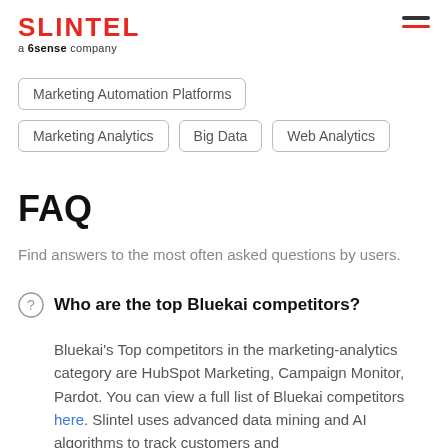SLINTEL a 6sense company
Marketing Automation Platforms
Marketing Analytics
Big Data
Web Analytics
FAQ
Find answers to the most often asked questions by users.
Who are the top Bluekai competitors?
Bluekai's Top competitors in the marketing-analytics category are HubSpot Marketing, Campaign Monitor, Pardot. You can view a full list of Bluekai competitors here. Slintel uses advanced data mining and AI algorithms to track customers and